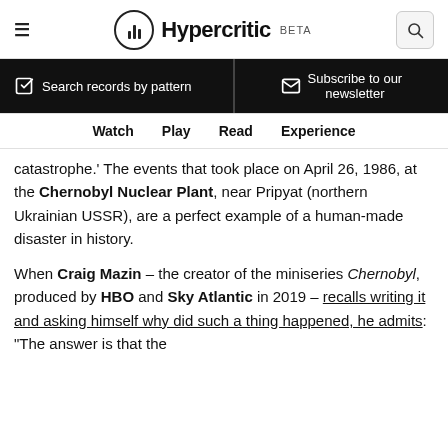Hypercritic BETA
Search records by pattern
Subscribe to our newsletter
Watch  Play  Read  Experience
catastrophe.' The events that took place on April 26, 1986, at the Chernobyl Nuclear Plant, near Pripyat (northern Ukrainian USSR), are a perfect example of a human-made disaster in history.
When Craig Mazin – the creator of the miniseries Chernobyl, produced by HBO and Sky Atlantic in 2019 – recalls writing it and asking himself why did such a thing happened, he admits: "The answer is that the